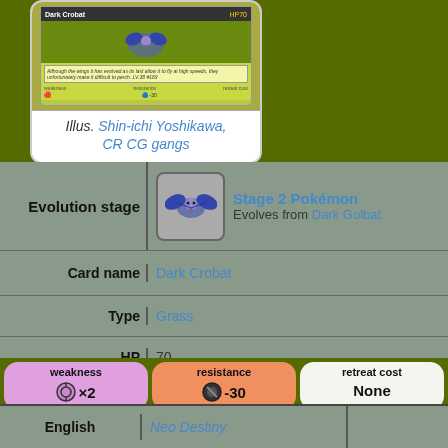[Figure (illustration): Pokemon card image for Dark Crobat showing card artwork]
Illus. Shin-ichi Yoshikawa, CR CG gangs
| Evolution stage | Stage 2 Pokémon / Evolves from Dark Golbat |
| Card name | Dark Crobat |
| Type | Grass |
| HP | 70 |
| weakness | resistance | retreat cost |
| ×2 (Psychic) | -30 (Dark) | None |
| English | Neo Destiny |